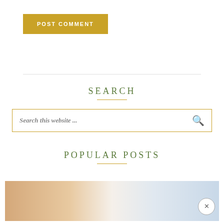POST COMMENT
SEARCH
Search this website ...
POPULAR POSTS
[Figure (photo): Partially visible image strip showing two photos side by side at the bottom of the page, one warm-toned and one cool/light-toned.]